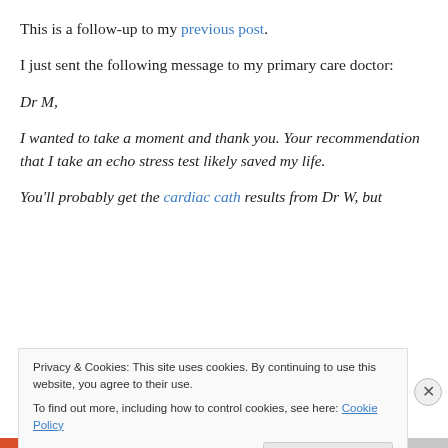This is a follow-up to my previous post.
I just sent the following message to my primary care doctor:
Dr M,
I wanted to take a moment and thank you. Your recommendation that I take an echo stress test likely saved my life.
You'll probably get the cardiac cath results from Dr W, but
Privacy & Cookies: This site uses cookies. By continuing to use this website, you agree to their use. To find out more, including how to control cookies, see here: Cookie Policy
Close and accept